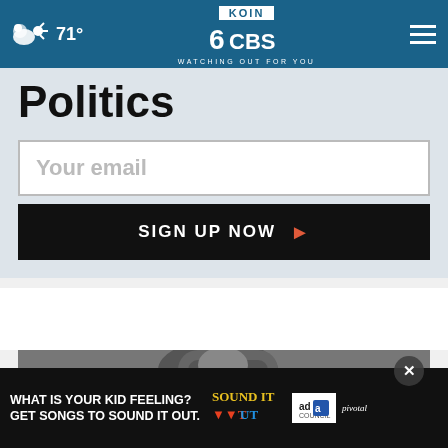71° KOIN 6 CBS WATCHING OUT FOR YOU
Politics
Your email
SIGN UP NOW
[Figure (photo): Black and white photo of a person bowing their head]
[Figure (other): Advertisement banner: WHAT IS YOUR KID FEELING? GET SONGS TO SOUND IT OUT. Sound It Out ad council pivotal]